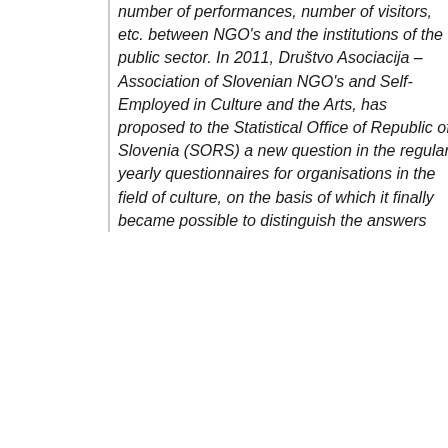number of performances, number of visitors, etc. between NGO's and the institutions of the public sector. In 2011, Društvo Asociacija – Association of Slovenian NGO's and Self-Employed in Culture and the Arts, has proposed to the Statistical Office of Republic of Slovenia (SORS) a new question in the regular yearly questionnaires for organisations in the field of culture, on the basis of which it finally became possible to distinguish the answers